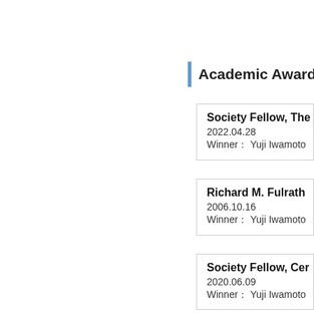Academic Awards Re
Society Fellow, The
2022.04.28
Winner： Yuji Iwamoto
Richard M. Fulrath
2006.10.16
Winner： Yuji Iwamoto
Society Fellow, Cer
2020.06.09
Winner： Yuji Iwamoto
Award of the Outsta
2016.06.03
Winner： Yohei SHIM
MERA, Sawao HON